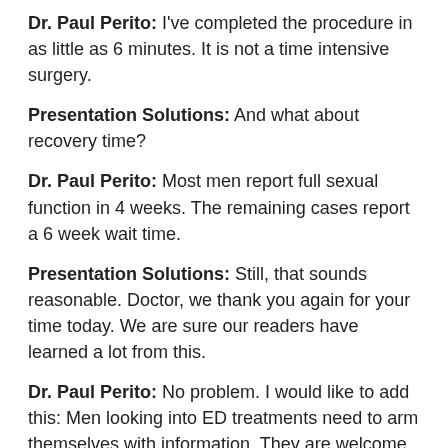Dr. Paul Perito: I've completed the procedure in as little as 6 minutes. It is not a time intensive surgery.
Presentation Solutions: And what about recovery time?
Dr. Paul Perito: Most men report full sexual function in 4 weeks. The remaining cases report a 6 week wait time.
Presentation Solutions: Still, that sounds reasonable. Doctor, we thank you again for your time today. We are sure our readers have learned a lot from this.
Dr. Paul Perito: No problem. I would like to add this: Men looking into ED treatments need to arm themselves with information. They are welcome to visit the Perito Urology website at www.peritourology.com for education information and links to articles about ED and penile prosthesis.